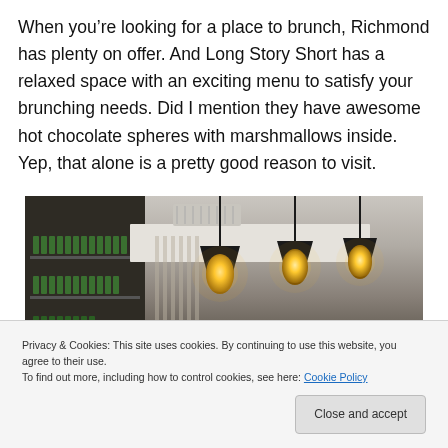When you’re looking for a place to brunch, Richmond has plenty on offer. And Long Story Short has a relaxed space with an exciting menu to satisfy your brunching needs. Did I mention they have awesome hot chocolate spheres with marshmallows inside. Yep, that alone is a pretty good reason to visit.
[Figure (photo): Interior photo of a cafe/restaurant showing pendant lights hanging from the ceiling, white ceiling panel, shelving with bottles on the left wall, and warm ambient lighting.]
Privacy & Cookies: This site uses cookies. By continuing to use this website, you agree to their use.
To find out more, including how to control cookies, see here: Cookie Policy
Close and accept